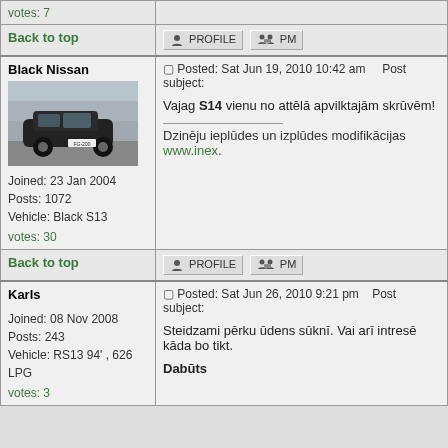votes: 7
Back to top
Black Nissan
[Figure (photo): Black Nissan S13 car drifting on a race track with crowd in background]
Joined: 23 Jan 2004
Posts: 1072
Vehicle: Black S13
votes: 30
Posted: Sat Jun 19, 2010 10:42 am   Post subject:
Vajag S14 vienu no attēlā apvilktajām skrūvēm!
Dzinēju ieplūdes un izplūdes modifikācijas www.inex...
Back to top
Karls
Joined: 08 Nov 2008
Posts: 243
Vehicle: RS13 94' , 626 LPG
votes: 3
Posted: Sat Jun 26, 2010 9:21 pm   Post subject:
Steidzami pērku ūdens sūknī. Vai arī intresē kāda bo tikt.
Dabūts